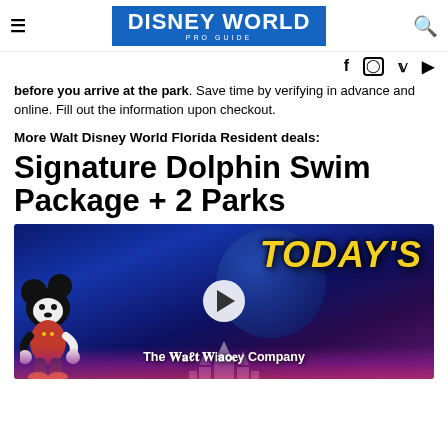DISNEY WORLD PRO GUIDE
before you arrive at the park. Save time by verifying in advance and online. Fill out the information upon checkout.
More Walt Disney World Florida Resident deals:
Signature Dolphin Swim Package + 2 Parks
[Figure (screenshot): Video thumbnail showing Mickey Mouse, TODAY'S text in yellow, The Walt Disney Company branding, play button, and castle silhouette against a blue/purple night sky background.]